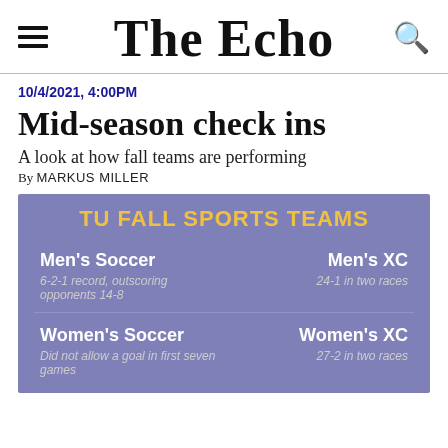The Echo
10/4/2021, 4:00PM
Mid-season check ins
A look at how fall teams are performing
By MARKUS MILLER
[Figure (infographic): TU Fall Sports Teams infographic with purple background showing Men's Soccer (6-2-1 record, outscoring opponents 14-8), Men's XC (24-1 in two races), Women's Soccer (Did not allow a goal in first seven games), Women's XC (27-2 in two races)]